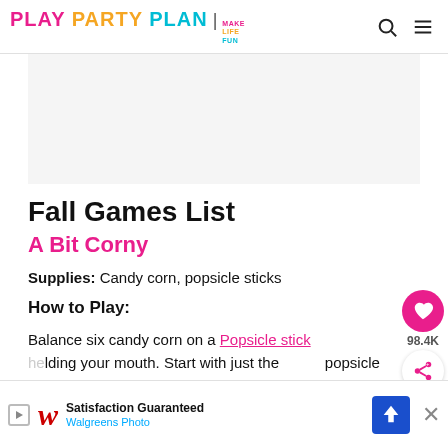PLAY PARTY PLAN | MAKE LIFE FUN
[Figure (other): Gray advertisement placeholder area]
Fall Games List
A Bit Corny
Supplies: Candy corn, popsicle sticks
How to Play:
Balance six candy corn on a Popsicle stick holding your mouth. Start with just the popsicle sticks...